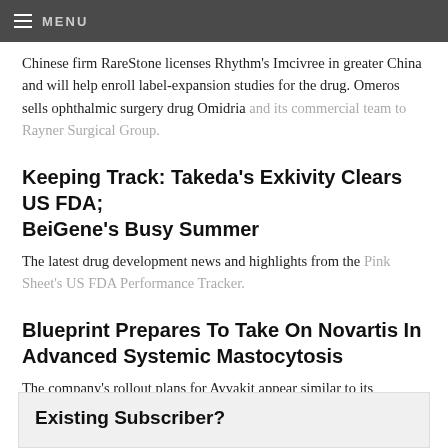MENU
Chinese firm RareStone licenses Rhythm's Imcivree in greater China and will help enroll label-expansion studies for the drug. Omeros sells ophthalmic surgery drug Omidria and its commercial team to Rayner Surgical Group.
Keeping Track: Takeda's Exkivity Clears US FDA; BeiGene's Busy Summer
The latest drug development news and highlights from the Pink Sheet's US FDA Performance Tracker.
Blueprint Prepares To Take On Novartis In Advanced Systemic Mastocytosis
The company's rollout plans for Ayvakit appear similar to its approach when it marketed the drug for GIST, with an education plan to help boost sales.
Existing Subscriber?